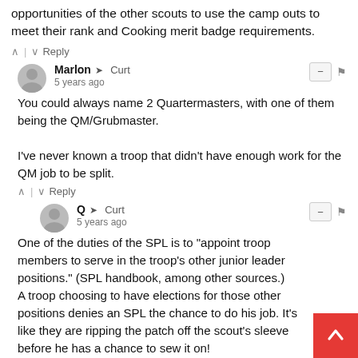opportunities of the other scouts to use the camp outs to meet their rank and Cooking merit badge requirements.
^ | v  Reply
Marlon → Curt
5 years ago
You could always name 2 Quartermasters, with one of them being the QM/Grubmaster.

I've never known a troop that didn't have enough work for the QM job to be split.
^ | v  Reply
Q → Curt
5 years ago
One of the duties of the SPL is to "appoint troop members to serve in the troop's other junior leader positions." (SPL handbook, among other sources.)
A troop choosing to have elections for those other positions denies an SPL the chance to do his job. It's like they are ripping the patch off the scout's sleeve before he has a chance to sew it on!